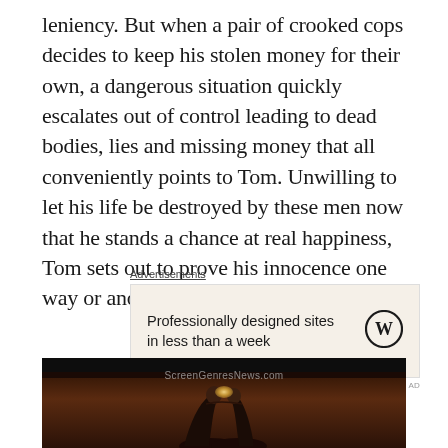leniency. But when a pair of crooked cops decides to keep his stolen money for their own, a dangerous situation quickly escalates out of control leading to dead bodies, lies and missing money that all conveniently points to Tom. Unwilling to let his life be destroyed by these men now that he stands a chance at real happiness, Tom sets out to prove his innocence one way or another.
Advertisements
[Figure (other): WordPress advertisement banner with beige background. Text: 'Professionally designed sites in less than a week' with WordPress logo (W in circle) on the right.]
[Figure (photo): Dark movie still showing two people (a man and woman) appearing to be about to kiss, lit by a chandelier light overhead. Watermark reads 'ScreenGenresNews.com'. Black bar at top.]